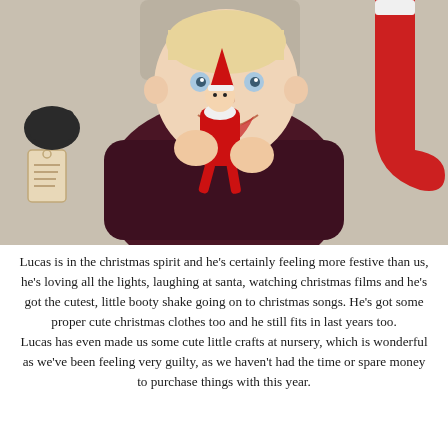[Figure (photo): A baby wearing a dark burgundy knit sweater biting and holding an Elf on the Shelf doll with a red hat and suit. A gift tag hangs on the left side and a red Christmas stocking is visible on the right. The background is a neutral wall.]
Lucas is in the christmas spirit and he's certainly feeling more festive than us, he's loving all the lights, laughing at santa, watching christmas films and he's got the cutest, little booty shake going on to christmas songs. He's got some proper cute christmas clothes too and he still fits in last years too. Lucas has even made us some cute little crafts at nursery, which is wonderful as we've been feeling very guilty, as we haven't had the time or spare money to purchase things with this year.